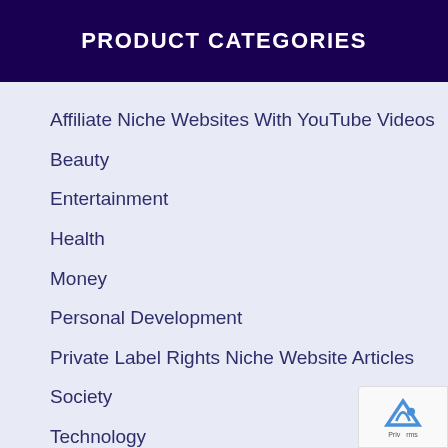PRODUCT CATEGORIES
Affiliate Niche Websites With YouTube Videos
Beauty
Entertainment
Health
Money
Personal Development
Private Label Rights Niche Website Articles
Society
Technology